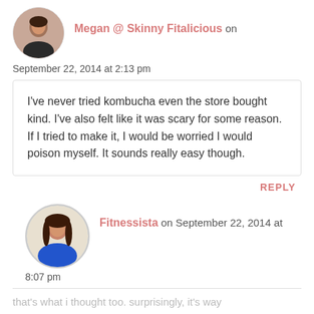Megan @ Skinny Fitalicious on September 22, 2014 at 2:13 pm
I've never tried kombucha even the store bought kind. I've also felt like it was scary for some reason. If I tried to make it, I would be worried I would poison myself. It sounds really easy though.
REPLY
Fitnessista on September 22, 2014 at 8:07 pm
that's what i thought too. surprisingly, it's way